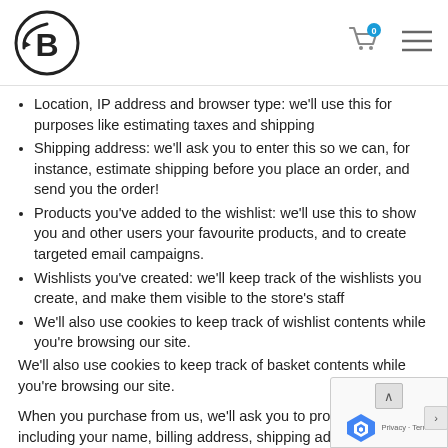AB3 logo, shopping cart with 0 items, hamburger menu
Location, IP address and browser type: we'll use this for purposes like estimating taxes and shipping
Shipping address: we'll ask you to enter this so we can, for instance, estimate shipping before you place an order, and send you the order!
Products you've added to the wishlist: we'll use this to show you and other users your favourite products, and to create targeted email campaigns.
Wishlists you've created: we'll keep track of the wishlists you create, and make them visible to the store's staff
We'll also use cookies to keep track of wishlist contents while you're browsing our site.
We'll also use cookies to keep track of basket contents while you're browsing our site.
When you purchase from us, we'll ask you to provide information including your name, billing address, shipping address, email address, phone number and credit card/payment details